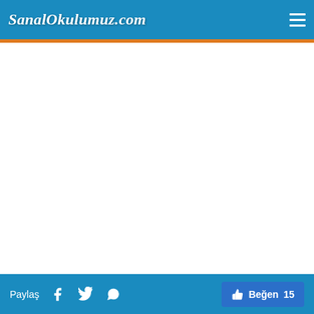SanalOkulumuz.com
[Figure (screenshot): White blank content area below header navigation bar]
Paylaş  f  Twitter  WhatsApp  Beğen 15